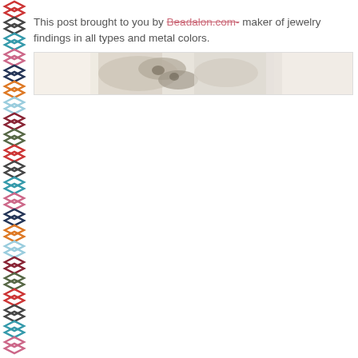[Figure (illustration): Decorative colorful chevron/arrow pattern border running vertically along the left side of the page in various colors: red, dark gray, teal/blue, pink, dark navy, orange, light blue, dark red, olive/dark]
This post brought to you by Beadalon.com- maker of jewelry findings in all types and metal colors.
[Figure (photo): A horizontal banner image showing what appears to be white/cream colored stones, shells or natural objects arranged together, with some darker elements mixed in, on a light textured background.]